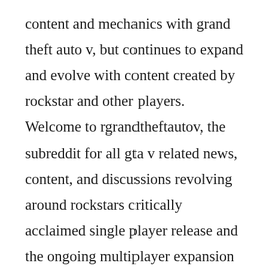content and mechanics with grand theft auto v, but continues to expand and evolve with content created by rockstar and other players. Welcome to rgrandtheftautov, the subreddit for all gta v related news, content, and discussions revolving around rockstars critically acclaimed single player release and the ongoing multiplayer expansion of grand theft auto online please take a second to read over reddiquette and look over the content that is not permitted gtao discord. Ive replayed gta iv so many times, and every time i always got to the point for almost all...